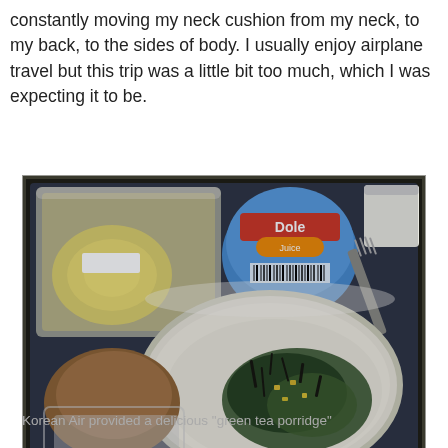constantly moving my neck cushion from my neck, to my back, to the sides of body. I usually enjoy airplane travel but this trip was a little bit too much, which I was expecting it to be.
[Figure (photo): An airplane meal tray with a bowl of green tea porridge topped with seaweed and corn, a Dole tropical fruit cup, a clear plastic container with sliced fruit in syrup, a bread roll in plastic wrap, a fork and spoon, and a white cup in the corner.]
Korean Air provided a delicious "green tea porridge"